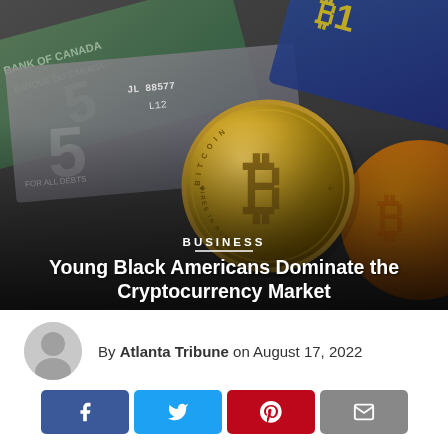[Figure (photo): Photograph showing currency notes (US dollars, Canadian dollars) and a gold Bitcoin coin along with other cryptocurrency coins scattered together]
BUSINESS
Young Black Americans Dominate the Cryptocurrency Market
By Atlanta Tribune on August 17, 2022
[Figure (other): Social media share buttons: Facebook (blue), Twitter (light blue), Pinterest (red), Email (grey)]